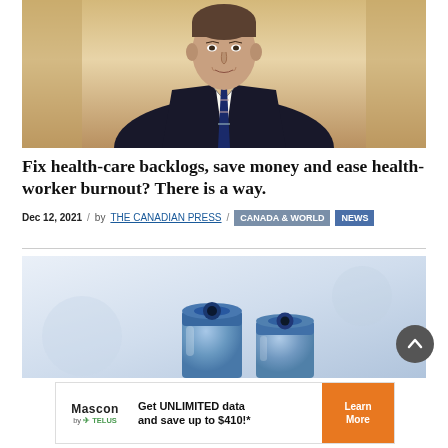[Figure (photo): Photo of a man in a dark suit and striped tie, standing in what appears to be a corridor with warm golden tones]
Fix health-care backlogs, save money and ease health-worker burnout? There is a way.
Dec 12, 2021 / by THE CANADIAN PRESS / CANADA & WORLD NEWS
[Figure (photo): Close-up photo of medical vials/vaccine bottles on a light blue/grey background]
Get UNLIMITED data and save up to $410!* — Mascon by TELUS — Learn More